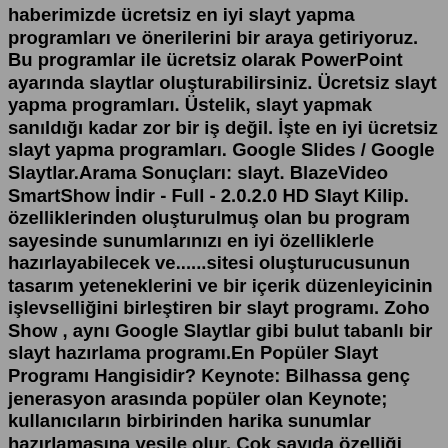haberimizde ücretsiz en iyi slayt yapma programları ve önerilerini bir araya getiriyoruz. Bu programlar ile ücretsiz olarak PowerPoint ayarında slaytlar oluşturabilirsiniz. Ücretsiz slayt yapma programları. Üstelik, slayt yapmak sanıldığı kadar zor bir iş değil. İşte en iyi ücretsiz slayt yapma programları. Google Slides / Google Slaytlar.Arama Sonuçları: slayt. BlazeVideo SmartShow İndir - Full - 2.0.2.0 HD Slayt Kilip. özelliklerinden oluşturulmuş olan bu program sayesinde sunumlarınızı en iyi özelliklerle hazırlayabilecek ve......sitesi oluşturucusunun tasarım yeteneklerini ve bir içerik düzenleyicinin işlevselliğini birleştiren bir slayt programı. Zoho Show , aynı Google Slaytlar gibi bulut tabanlı bir slayt hazırlama programı.En Popüler Slayt Programı Hangisidir? Keynote: Bilhassa genç jenerasyon arasında popüler olan Keynote; kullanıcıların birbirinden harika sunumlar hazırlamasına vesile olur. Çok sayıda özelliği mevcuttur. Hazırlanan slaytlara fotoğraf, video ve ses eklemek mümkündür. Buna ek olarak, sunulara ayrı ayrı not eklenebilir. Sonuç olarak resim